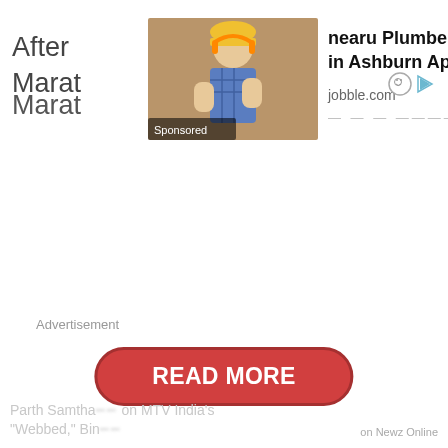[Figure (screenshot): Advertisement banner showing a plumber/pipefitter job ad from jobble.com with a photo of a construction worker in a plaid shirt and yellow hard hat, 'Sponsored' badge, and ad controls (mute icon and play button). Title reads 'nearu Plumber/Pipefitter Jobs in Ashburn Apply Now', source 'jobble.com'.]
After Marat
Advertisement
READ MORE
Parth Samtha... on MTV India's "Webbed," Bin...
on Newz Online